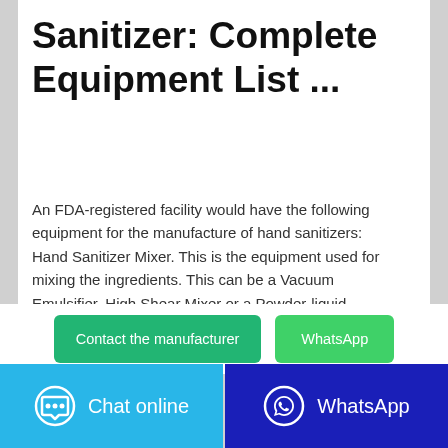Sanitizer: Complete Equipment List ...
An FDA-registered facility would have the following equipment for the manufacture of hand sanitizers: Hand Sanitizer Mixer. This is the equipment used for mixing the ingredients. This can be a Vacuum Emulsifier, High Shear Mixer or a Powder-liquid Disperser Mixer which can make small to large batches of hand sanitizer solution.
[Figure (other): Two buttons: 'Contact the manufacturer' (green) and 'WhatsApp' (light green)]
[Figure (other): Bottom bar with two buttons: 'Chat online' (blue with chat bubble icon) and 'WhatsApp' (dark blue with WhatsApp icon)]